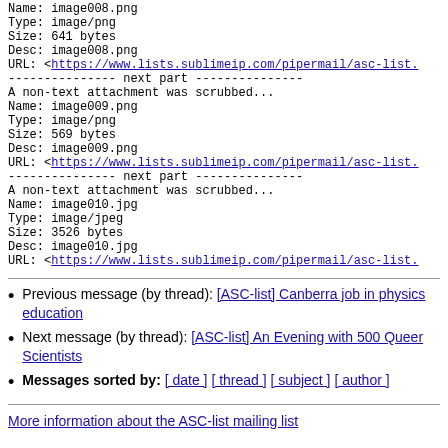Name: image008.png
Type: image/png
Size: 641 bytes
Desc: image008.png
URL: <https://www.lists.sublimeip.com/pipermail/asc-list...>
--------------- next part ---------------
A non-text attachment was scrubbed...
Name: image009.png
Type: image/png
Size: 569 bytes
Desc: image009.png
URL: <https://www.lists.sublimeip.com/pipermail/asc-list...>
--------------- next part ---------------
A non-text attachment was scrubbed...
Name: image010.jpg
Type: image/jpeg
Size: 3526 bytes
Desc: image010.jpg
URL: <https://www.lists.sublimeip.com/pipermail/asc-list...>
Previous message (by thread): [ASC-list] Canberra job in physics education
Next message (by thread): [ASC-list] An Evening with 500 Queer Scientists
Messages sorted by: [ date ] [ thread ] [ subject ] [ author ]
More information about the ASC-list mailing list